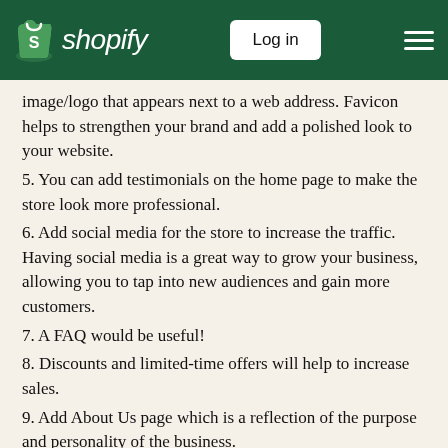Shopify — Log in
image/logo that appears next to a web address. Favicon helps to strengthen your brand and add a polished look to your website.
5. You can add testimonials on the home page to make the store look more professional.
6. Add social media for the store to increase the traffic. Having social media is a great way to grow your business, allowing you to tap into new audiences and gain more customers.
7. A FAQ would be useful!
8. Discounts and limited-time offers will help to increase sales.
9. Add About Us page which is a reflection of the purpose and personality of the business.